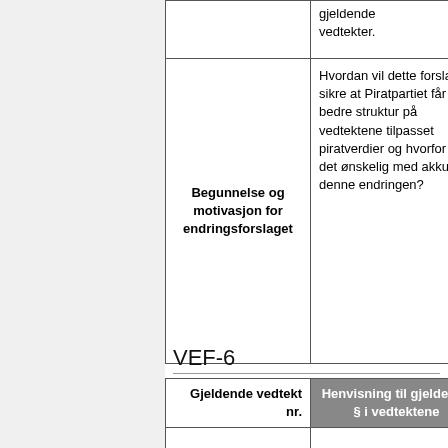|  | gjeldende vedtekter. |
| Begunnelse og motivasjon for endringsforslaget | Hvordan vil dette forslaget sikre at Piratpartiet får en bedre struktur på vedtektene tilpasset piratverdier og hvorfor er det ønskelig med akkurat denne endringen? |
VEF-6
| Gjeldende vedtekt nr. | Henvisning til gjeldende § i vedtektene |
| --- | --- |
|  |  |